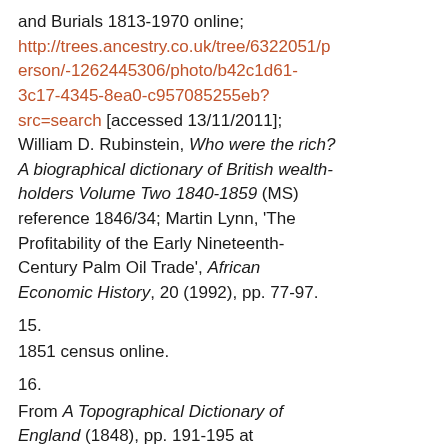and Burials 1813-1970 online; http://trees.ancestry.co.uk/tree/6322051/person/-1262445306/photo/b42c1d61-3c17-4345-8ea0-c957085255eb?src=search [accessed 13/11/2011]; William D. Rubinstein, Who were the rich? A biographical dictionary of British wealth-holders Volume Two 1840-1859 (MS) reference 1846/34; Martin Lynn, 'The Profitability of the Early Nineteenth-Century Palm Oil Trade', African Economic History, 20 (1992), pp. 77-97.
15.
1851 census online.
16.
From A Topographical Dictionary of England (1848), pp. 191-195 at www.british-history.ac.uk/report.aspx?compid=50952#s12 [accessed